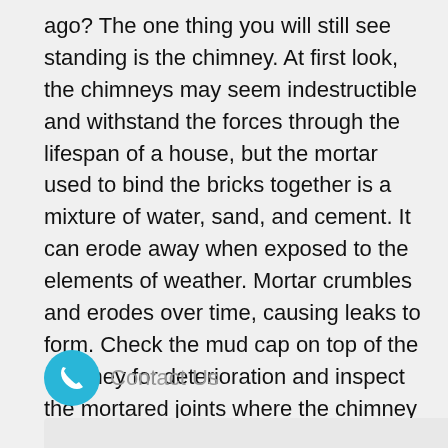ago? The one thing you will still see standing is the chimney. At first look, the chimneys may seem indestructible and withstand the forces through the lifespan of a house, but the mortar used to bind the bricks together is a mixture of water, sand, and cement. It can erode away when exposed to the elements of weather. Mortar crumbles and erodes over time, causing leaks to form. Check the mud cap on top of the chimney for deterioration and inspect the mortared joints where the chimney enters the roof. If patches or a repair is required, it is a quick and cheap fix.
Contact Us